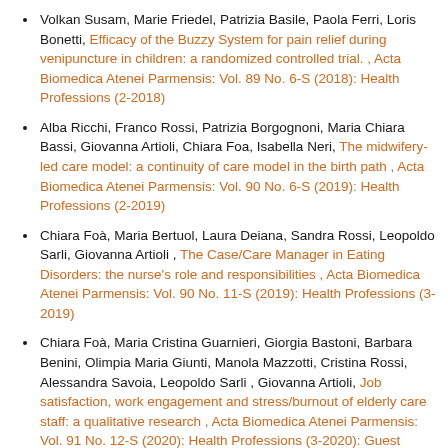Volkan Susam, Marie Friedel, Patrizia Basile, Paola Ferri, Loris Bonetti, Efficacy of the Buzzy System for pain relief during venipuncture in children: a randomized controlled trial. , Acta Biomedica Atenei Parmensis: Vol. 89 No. 6-S (2018): Health Professions (2-2018)
Alba Ricchi, Franco Rossi, Patrizia Borgognoni, Maria Chiara Bassi, Giovanna Artioli, Chiara Foa, Isabella Neri, The midwifery-led care model: a continuity of care model in the birth path , Acta Biomedica Atenei Parmensis: Vol. 90 No. 6-S (2019): Health Professions (2-2019)
Chiara Foà, Maria Bertuol, Laura Deiana, Sandra Rossi, Leopoldo Sarli, Giovanna Artioli , The Case/Care Manager in Eating Disorders: the nurse's role and responsibilities , Acta Biomedica Atenei Parmensis: Vol. 90 No. 11-S (2019): Health Professions (3-2019)
Chiara Foà, Maria Cristina Guarnieri, Giorgia Bastoni, Barbara Benini, Olimpia Maria Giunti, Manola Mazzotti, Cristina Rossi, Alessandra Savoia, Leopoldo Sarli , Giovanna Artioli, Job satisfaction, work engagement and stress/burnout of elderly care staff: a qualitative research , Acta Biomedica Atenei Parmensis: Vol. 91 No. 12-S (2020): Health Professions (3-2020): Guest Editors: Leopoldo Sarli,